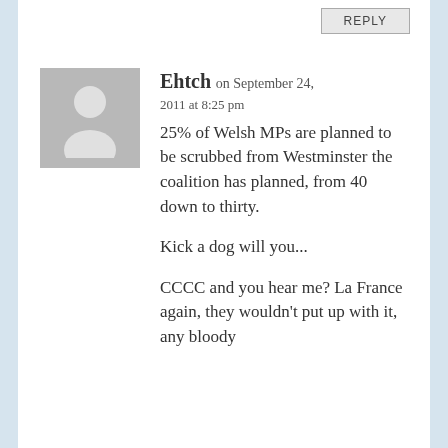REPLY
Ehtch on September 24, 2011 at 8:25 pm
25% of Welsh MPs are planned to be scrubbed from Westminster the coalition has planned, from 40 down to thirty.

Kick a dog will you...

CCCC and you hear me? La France again, they wouldn't put up with it, any bloody